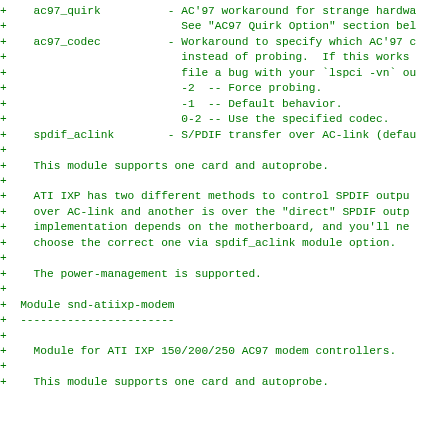+ 	ac97_quirk	- AC'97 workaround for strange hardwa
+					See "AC97 Quirk Option" section bel
+	ac97_codec		- Workaround to specify which AC'97 c
+					instead of probing.  If this works
+					file a bug with your `lspci -vn` ou
+					-2  -- Force probing.
+					-1  -- Default behavior.
+					0-2 -- Use the specified codec.
+	spdif_aclink		- S/PDIF transfer over AC-link (defau
+
+	This module supports one card and autoprobe.
+
+	ATI IXP has two different methods to control SPDIF outpu
+	over AC-link and another is over the "direct" SPDIF outp
+	implementation depends on the motherboard, and you'll ne
+	choose the correct one via spdif_aclink module option.
+
+	The power-management is supported.
+
+  Module snd-atiixp-modem
+  -----------------------
+
+	Module for ATI IXP 150/200/250 AC97 modem controllers.
+
+	This module supports one card and autoprobe.